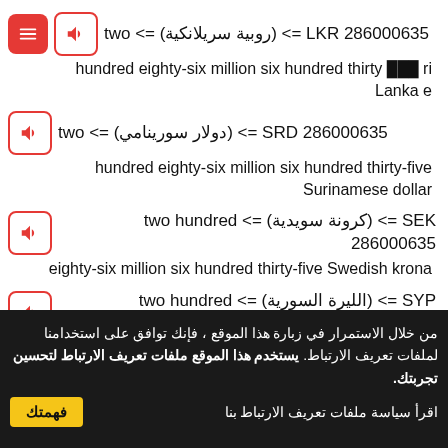286000635 LKR <= (روبية سريلانكية) <= two hundred eighty-six million six hundred thirty Sri Lanka rupee
286000635 SRD <= (دولار سورينامي) <= two hundred eighty-six million six hundred thirty-five Surinamese dollar
286000635 SEK <= (كرونة سويدية) <= two hundred eighty-six million six hundred thirty-five Swedish krona
286000635 SYP <= (الليرة السورية) <= two hundred eighty-six million six hundred thirty-five Syrian pound
من خلال الاستمرار في زبارة هذا الموقع ، فإنك توافق على استخدامنا لملفات تعريف الارتباط. يستخدم هذا الموقع ملفات تعريف الارتباط لتحسين تجربتك.
اقرأ سياسة ملفات تعريف الارتباط بنا  فهمتك